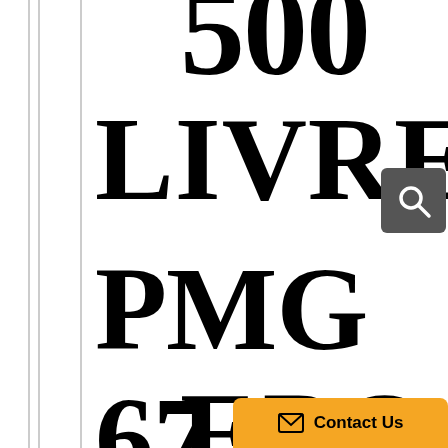[Figure (screenshot): Partial webpage screenshot showing large bold text: '500', 'LIVRES', 'PMG 67', 'EPO' with search icon and Contact Us button overlay]
500
LIVRES
PMG 67
EPO